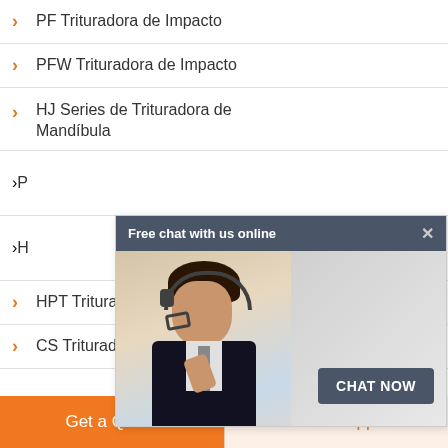PF Trituradora de Impacto
PFW Trituradora de Impacto
HJ Series de Trituradora de Mandíbula
P...
H...
HPT Trituradora de Cono
CS Trituradora de Cono
[Figure (screenshot): Chat overlay popup with 'Free chat with us online' header, image of customer service representative with headset, and CHAT NOW button]
Get a Quote
WhatsApp